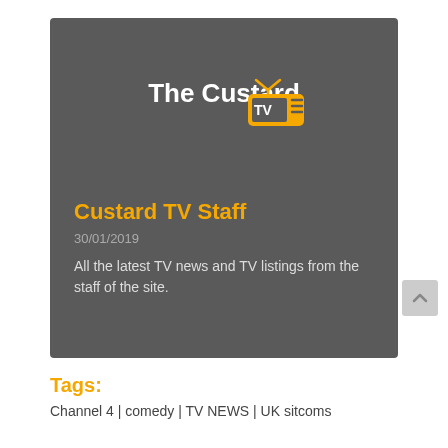[Figure (logo): The Custard TV logo on dark grey background with author name, date and description]
Custard TV Staff
30/01/2019
All the latest TV news and TV listings from the staff of the site.
Tags:
Channel 4 | comedy | TV NEWS | UK sitcoms